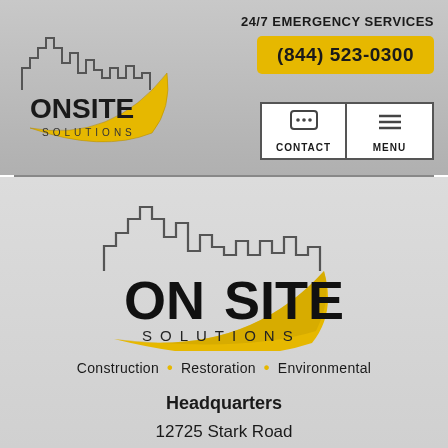[Figure (logo): OnSite Solutions logo - small, top-left in header]
24/7 EMERGENCY SERVICES
(844) 523-0300
CONTACT
MENU
[Figure (logo): OnSite Solutions large logo - center of page]
Construction • Restoration • Environmental
Headquarters
12725 Stark Road
Livonia, MI 48150
P: 877-726-2738